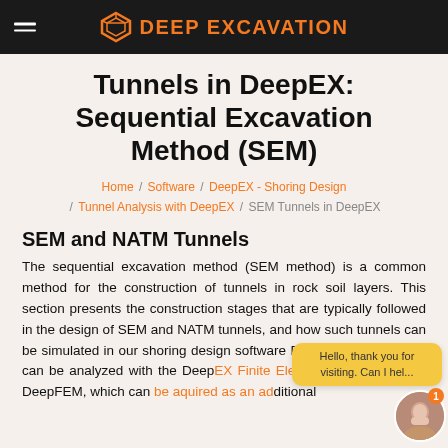DEEP EXCAVATION
Tunnels in DeepEX: Sequential Excavation Method (SEM)
Home / Software / DeepEX - Shoring Design / Tunnel Analysis with DeepEX / SEM Tunnels in DeepEX
SEM and NATM Tunnels
The sequential excavation method (SEM method) is a common method for the construction of tunnels in rock soil layers. This section presents the construction stages that are typically followed in the design of SEM and NATM tunnels, and how such tunnels can be simulated in our shoring design software DeepEX. SEM tunnels can be analyzed with the DeepEX Finite Element Analysis engine DeepFEM, which can be aquired as an additional